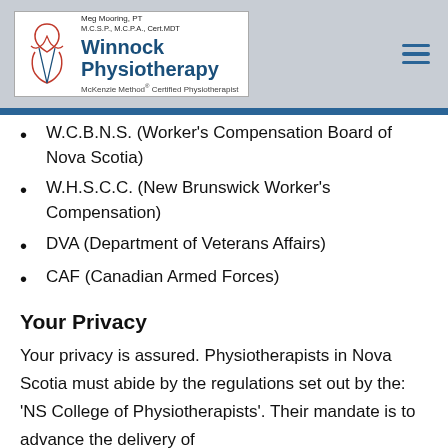Winnock Physiotherapy — Meg Mooring, PT M.C.S.P., M.C.P.A., Cert.MDT — McKenzie Method® Certified Physiotherapist
W.C.B.N.S. (Worker's Compensation Board of Nova Scotia)
W.H.S.C.C. (New Brunswick Worker's Compensation)
DVA (Department of Veterans Affairs)
CAF (Canadian Armed Forces)
Your Privacy
Your privacy is assured. Physiotherapists in Nova Scotia must abide by the regulations set out by the: 'NS College of Physiotherapists'. Their mandate is to advance the delivery of